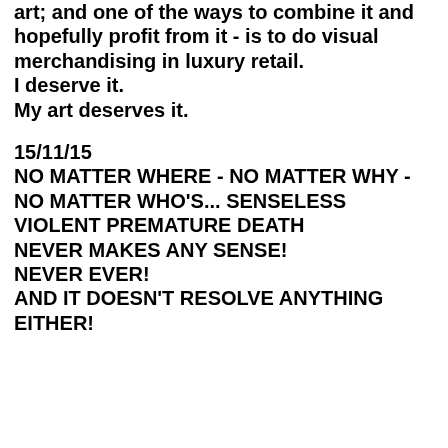art; and one of the ways to combine it and hopefully profit from it - is to do visual merchandising in luxury retail. I deserve it. My art deserves it.
15/11/15
NO MATTER WHERE - NO MATTER WHY - NO MATTER WHO'S... SENSELESS VIOLENT PREMATURE DEATH
NEVER MAKES ANY SENSE!
NEVER EVER!
AND IT DOESN'T RESOLVE ANYTHING EITHER!